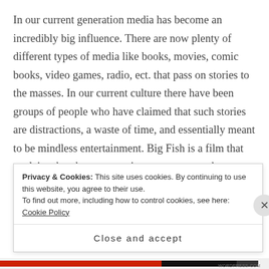In our current generation media has become an incredibly big influence. There are now plenty of different types of media like books, movies, comic books, video games, radio, ect. that pass on stories to the masses. In our current culture there have been groups of people who have claimed that such stories are distractions, a waste of time, and essentially meant to be mindless entertainment. Big Fish is a film that explains that these accusations are not true; there are more to stories than what is on the surface. There are lessons to be drawn from all sorts of different stories,
Privacy & Cookies: This site uses cookies. By continuing to use this website, you agree to their use.
To find out more, including how to control cookies, see here: Cookie Policy
Close and accept